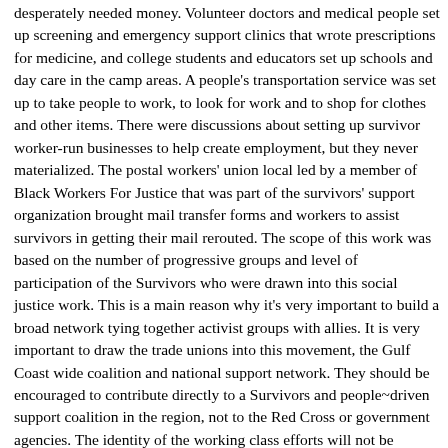desperately needed money. Volunteer doctors and medical people set up screening and emergency support clinics that wrote prescriptions for medicine, and college students and educators set up schools and day care in the camp areas. A people's transportation service was set up to take people to work, to look for work and to shop for clothes and other items. There were discussions about setting up survivor worker-run businesses to help create employment, but they never materialized. The postal workers' union local led by a member of Black Workers For Justice that was part of the survivors' support organization brought mail transfer forms and workers to assist survivors in getting their mail rerouted. The scope of this work was based on the number of progressive groups and level of participation of the Survivors who were drawn into this social justice work. This is a main reason why it's very important to build a broad network tying together activist groups with allies. It is very important to draw the trade unions into this movement, the Gulf Coast wide coalition and national support network. They should be encouraged to contribute directly to a Survivors and people~driven support coalition in the region, not to the Red Cross or government agencies. The identity of the working class efforts will not be projected by the contributions made to these agencies. It is important that workers see that trade unions have a broader concern and commitment to the needs of the working class and not just to their immediate members. The employers will certainly ask the workers where the unions were during the disaster when they try to organize. Trade unions can